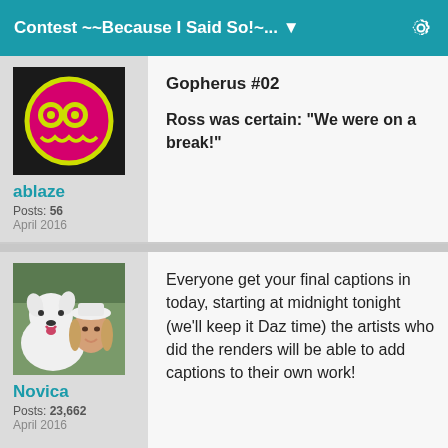Contest ~~Because I Said So!~... ▼
[Figure (illustration): Cartoon avatar with pink circle face with goggle eyes and jagged smile on black background]
ablaze
Posts: 56
April 2016
Gopherus #02
Ross was certain: "We were on a break!"
[Figure (photo): Photo of a woman with a white fluffy dog (Samoyed), outdoors]
Novica
Posts: 23,662
April 2016
Everyone get your final captions in today, starting at midnight tonight (we'll keep it Daz time) the artists who did the renders will be able to add captions to their own work!